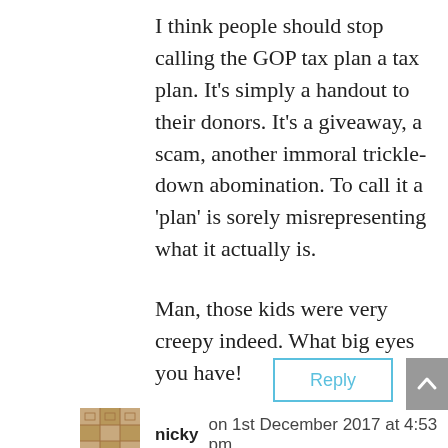I think people should stop calling the GOP tax plan a tax plan. It's simply a handout to their donors. It's a giveaway, a scam, another immoral trickle-down abomination. To call it a 'plan' is sorely misrepresenting what it actually is.

Man, those kids were very creepy indeed. What big eyes you have!
Reply
nicky on 1st December 2017 at 4:53 pm